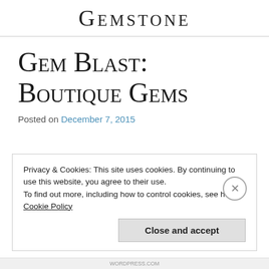Gemstone
Gem Blast: Boutique Gems
Posted on December 7, 2015
Privacy & Cookies: This site uses cookies. By continuing to use this website, you agree to their use. To find out more, including how to control cookies, see here: Cookie Policy
Close and accept